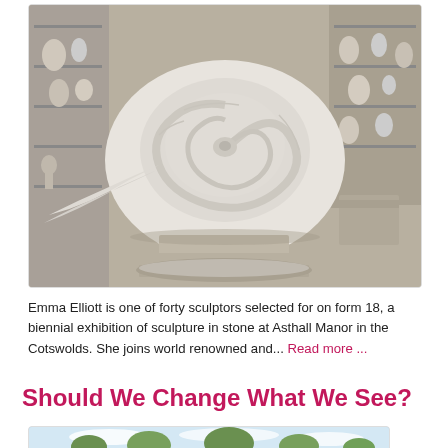[Figure (photo): A large white marble spiral/snail shell sculpture sitting on a stone pedestal inside a sculptor's workshop, surrounded by other white stone sculptures and shelving.]
Emma Elliott is one of forty sculptors selected for on form 18, a biennial exhibition of sculpture in stone at Asthall Manor in the Cotswolds. She joins world renowned and... Read more ...
Should We Change What We See?
[Figure (photo): Partial view of a second photo showing a landscape or outdoor scene with sky and trees.]